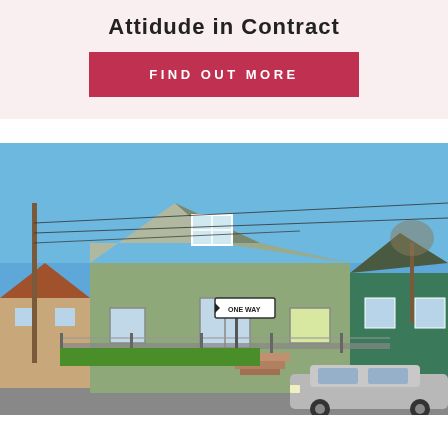Attidude in Contract
FIND OUT MORE
[Figure (photo): Street-level photo of a residential house with green siding and a gambrel roof on a corner lot with a chain-link fence, a one-way street sign, a parked silver car, and neighboring houses visible. Blue sky with power lines overhead.]